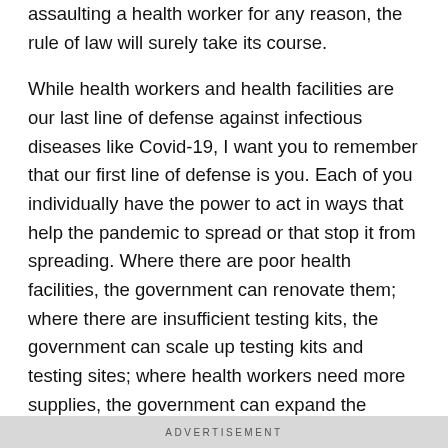assaulting a health worker for any reason, the rule of law will surely take its course.
While health workers and health facilities are our last line of defense against infectious diseases like Covid-19, I want you to remember that our first line of defense is you. Each of you individually have the power to act in ways that help the pandemic to spread or that stop it from spreading. Where there are poor health facilities, the government can renovate them; where there are insufficient testing kits, the government can scale up testing kits and testing sites; where health workers need more supplies, the government can expand the supply chain; where the virus breaks out, the government can intensify isolation measures. But there are limits to what the government can do, and one of those limits is that the government must never be allowed or expected to do what the citizen ought to.
ADVERTISEMENT